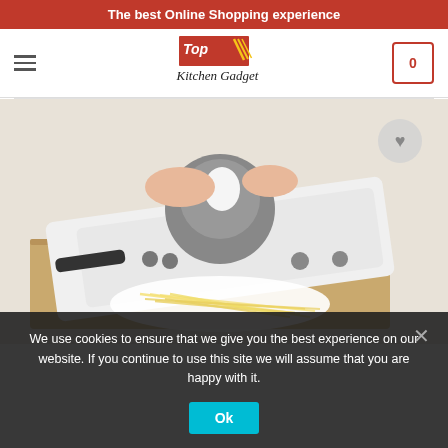The best Online Shopping experience
[Figure (logo): Top Kitchen Gadget logo with fork graphic on orange/red background and stylized text]
[Figure (photo): A mandoline slicer/kitchen gadget being used to slice vegetables into thin strips on a white plate, on a wooden cutting board]
We use cookies to ensure that we give you the best experience on our website. If you continue to use this site we will assume that you are happy with it.